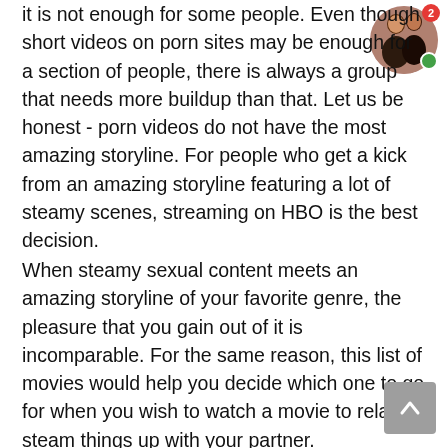it is not enough for some people. Even though short videos on porn sites may be enough for a section of people, there is always a group that needs more buildup than that. Let us be honest - porn videos do not have the most amazing storyline. For people who get a kick from an amazing storyline featuring a lot of steamy scenes, streaming on HBO is the best decision.
When steamy sexual content meets an amazing storyline of your favorite genre, the pleasure that you gain out of it is incomparable. For the same reason, this list of movies would help you decide which one to go for when you wish to watch a movie to relax or steam things up with your partner.